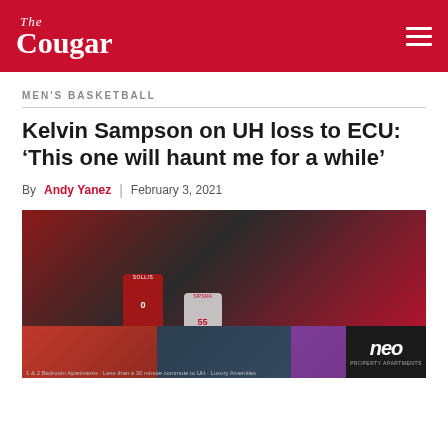The Cougar
MEN'S BASKETBALL
Kelvin Sampson on UH loss to ECU: ‘This one will haunt me for a while’
By Andy Yanez | February 3, 2021
[Figure (photo): Basketball game action photo showing players including jersey #0 (SOLLIS) and jersey #55 (SIPSMA or similar) contesting for the ball, with red and dark uniforms visible]